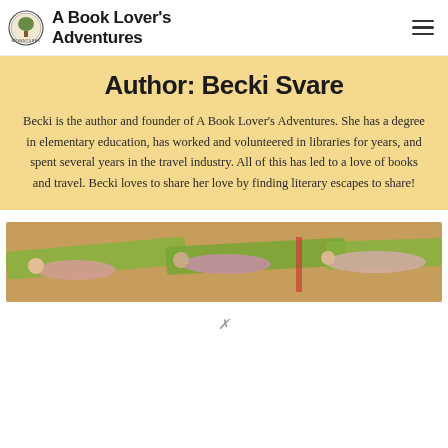A Book Lover's Adventures
Author: Becki Svare
Becki is the author and founder of A Book Lover's Adventures. She has a degree in elementary education, has worked and volunteered in libraries for years, and spent several years in the travel industry. All of this has led to a love of books and travel. Becki loves to share her love by finding literary escapes to share!
[Figure (photo): Photo of people doing yoga/stretching on green mats, viewed from above at an angle, warm toned lighting]